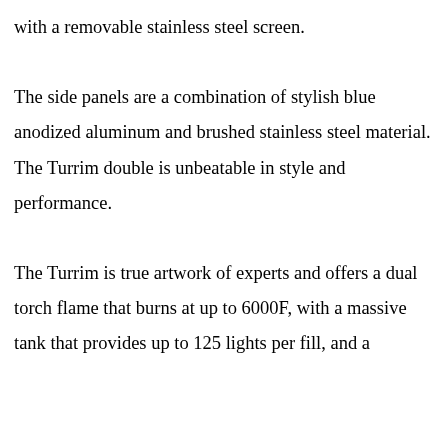with a removable stainless steel screen. The side panels are a combination of stylish blue anodized aluminum and brushed stainless steel material. The Turrim double is unbeatable in style and performance.

The Turrim is true artwork of experts and offers a dual torch flame that burns at up to 6000F, with a massive tank that provides up to 125 lights per fill, and a